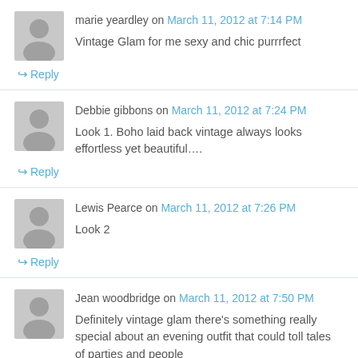marie yeardley on March 11, 2012 at 7:14 PM
Vintage Glam for me sexy and chic purrrfect
Reply
Debbie gibbons on March 11, 2012 at 7:24 PM
Look 1. Boho laid back vintage always looks effortless yet beautiful….
Reply
Lewis Pearce on March 11, 2012 at 7:26 PM
Look 2
Reply
Jean woodbridge on March 11, 2012 at 7:50 PM
Definitely vintage glam there's something really special about an evening outfit that could toll tales of parties and people